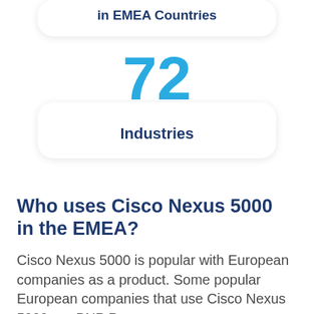in EMEA Countries
72
Industries
Who uses Cisco Nexus 5000 in the EMEA?
Cisco Nexus 5000 is popular with European companies as a product. Some popular European companies that use Cisco Nexus 5000 are BNP Paribas and others...